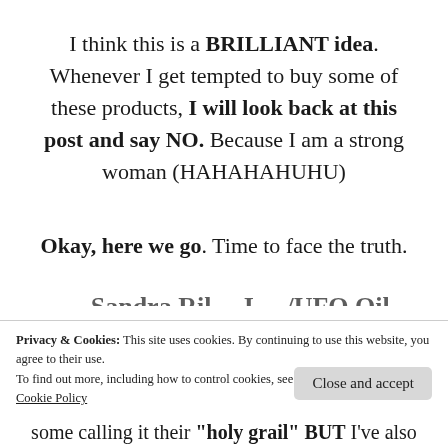I think this is a BRILLIANT idea. Whenever I get tempted to buy some of these products, I will look back at this post and say NO. Because I am a strong woman (HAHAHAHUHU)
Okay, here we go. Time to face the truth.
Privacy & Cookies: This site uses cookies. By continuing to use this website, you agree to their use.
To find out more, including how to control cookies, see here:
Cookie Policy
some calling it their "holy grail" BUT I've also